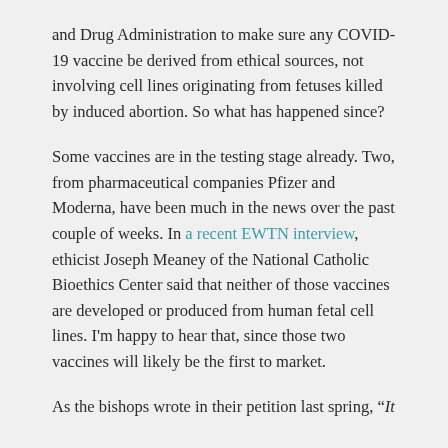and Drug Administration to make sure any COVID-19 vaccine be derived from ethical sources, not involving cell lines originating from fetuses killed by induced abortion. So what has happened since?
Some vaccines are in the testing stage already. Two, from pharmaceutical companies Pfizer and Moderna, have been much in the news over the past couple of weeks. In a recent EWTN interview, ethicist Joseph Meaney of the National Catholic Bioethics Center said that neither of those vaccines are developed or produced from human fetal cell lines. I'm happy to hear that, since those two vaccines will likely be the first to market.
As the bishops wrote in their petition last spring, “It